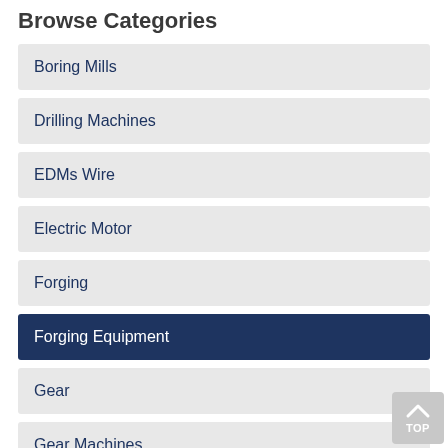Browse Categories
Boring Mills
Drilling Machines
EDMs Wire
Electric Motor
Forging
Forging Equipment
Gear
Gear Machines
Grinding Machines